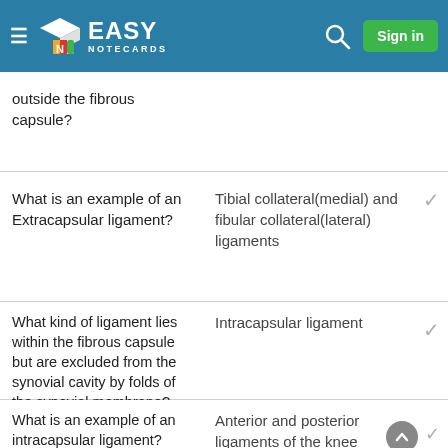Easy Notecards - Sign in
outside the fibrous capsule?
What is an example of an Extracapsular ligament?
Tibial collateral(medial) and fibular collateral(lateral) ligaments
What kind of ligament lies within the fibrous capsule but are excluded from the synovial cavity by folds of the synovial membrane?
Intracapsular ligament
What is an example of an intracapsular ligament?
Anterior and posterior ligaments of the knee